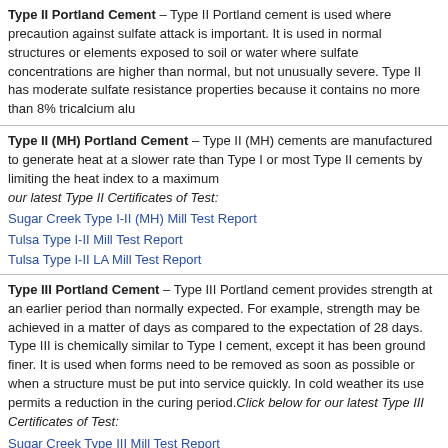Type II Portland Cement – Type II Portland cement is used where precaution against sulfate attack is important. It is used in normal structures or elements exposed to soil or water where sulfate concentrations are higher than normal, but not unusually severe. Type II has moderate sulfate resistance properties because it contains no more than 8% tricalcium alu...
Type II (MH) Portland Cement – Type II (MH) cements are manufactured to generate heat at a slower rate than Type I or most Type II cements by limiting the heat index to a maximum... Click below for our latest Type II Certificates of Test:
Sugar Creek Type I-II (MH) Mill Test Report
Tulsa Type I-II Mill Test Report
Tulsa Type I-II LA Mill Test Report
Type III Portland Cement – Type III Portland cement provides strength at an earlier period than normally expected. For example, strength may be achieved in a matter of days as compared to the normal expectation of 28 days. Type III is chemically similar to Type I cement, except that its particles have been ground finer. It is used when forms need to be removed as soon as possible or when the structure must be put into service quickly. In cold weather its use permits a reduction in the curing period. Click below for our latest Type III Certificates of Test:
Sugar Creek Type III Mill Test Report
Type V – Type V Portland cement is used in concrete exposed to severe sulfate conditions, principally where soils or groundwater have a high sulfate content. It gains strength more slowly than Type I cement. The high sulfate resistance of Type V cement is attributed to low tricalcium aluminate content, not more than 5%. Click below for our latest Type V Certificates of Test:
Tulsa Type V Mill Test Report
Sugar Creek Type V Mill Test Report
Blended Cement – Blended cements are produced by intergrinding or blending...